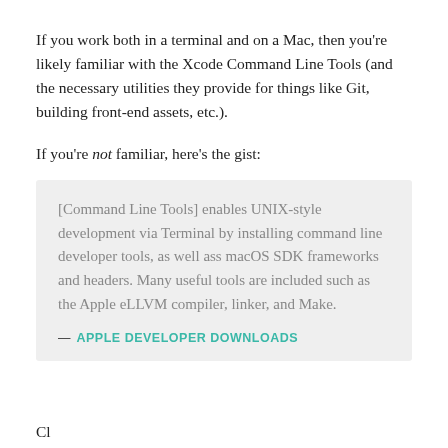If you work both in a terminal and on a Mac, then you're likely familiar with the Xcode Command Line Tools (and the necessary utilities they provide for things like Git, building front-end assets, etc.).
If you're not familiar, here's the gist:
[Command Line Tools] enables UNIX-style development via Terminal by installing command line developer tools, as well ass macOS SDK frameworks and headers. Many useful tools are included such as the Apple eLLVM compiler, linker, and Make.
— APPLE DEVELOPER DOWNLOADS
Cl...